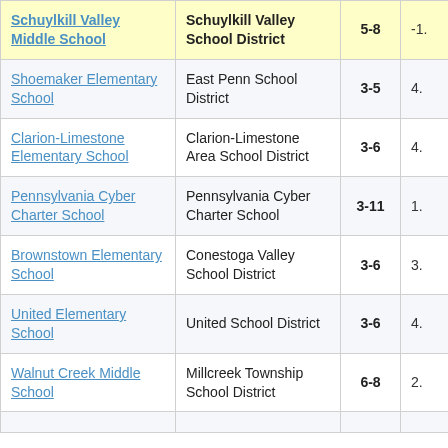| School | District | Grades | Score |
| --- | --- | --- | --- |
| Schuylkill Valley Middle School | Schuylkill Valley School District | 5-8 | -1. |
| Shoemaker Elementary School | East Penn School District | 3-5 | 4. |
| Clarion-Limestone Elementary School | Clarion-Limestone Area School District | 3-6 | 4. |
| Pennsylvania Cyber Charter School | Pennsylvania Cyber Charter School | 3-11 | 1. |
| Brownstown Elementary School | Conestoga Valley School District | 3-6 | 3. |
| United Elementary School | United School District | 3-6 | 4. |
| Walnut Creek Middle School | Millcreek Township School District | 6-8 | 2. |